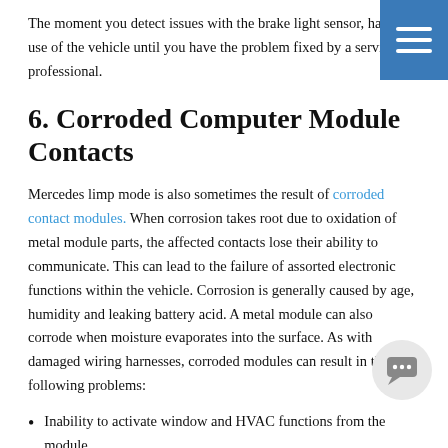The moment you detect issues with the brake light sensor, halt all use of the vehicle until you have the problem fixed by a service professional.
6. Corroded Computer Module Contacts
Mercedes limp mode is also sometimes the result of corroded contact modules. When corrosion takes root due to oxidation of metal module parts, the affected contacts lose their ability to communicate. This can lead to the failure of assorted electronic functions within the vehicle. Corrosion is generally caused by age, humidity and leaking battery acid. A metal module can also corrode when moisture evaporates into the surface. As with damaged wiring harnesses, corroded modules can result in the following problems:
Inability to activate window and HVAC functions from the module.
(partial bottom text)